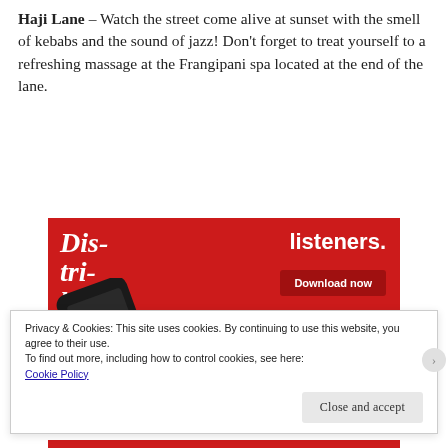Haji Lane – Watch the street come alive at sunset with the smell of kebabs and the sound of jazz! Don't forget to treat yourself to a refreshing massage at the Frangipani spa located at the end of the lane.
[Figure (illustration): Advertisement banner on red background showing a smartphone with 'Dis-tri-buted' text in white bold italic serif font on the left, 'listeners.' in white bold sans-serif on the right, and a 'Download now' dark red button. The phone displays a podcast app interface.]
Privacy & Cookies: This site uses cookies. By continuing to use this website, you agree to their use.
To find out more, including how to control cookies, see here:
Cookie Policy
Close and accept